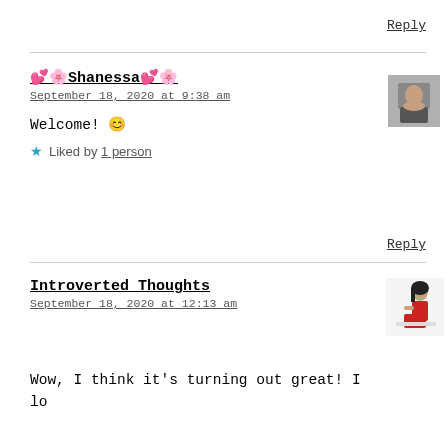Reply
💕🌸Shanessa💕🌸
September 18, 2020 at 9:38 am
Welcome! 😊
★ Liked by 1 person
Reply
Introverted Thoughts
September 18, 2020 at 12:13 am
Wow, I think it's turning out great! I